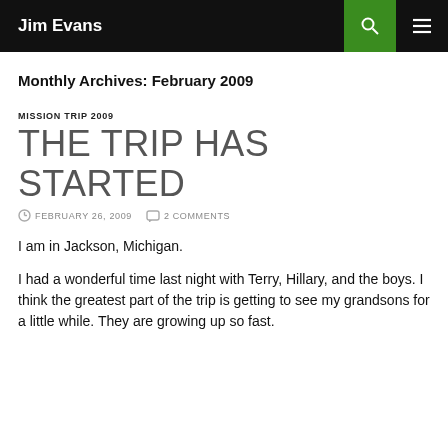Jim Evans
Monthly Archives: February 2009
MISSION TRIP 2009
THE TRIP HAS STARTED
FEBRUARY 26, 2009   2 COMMENTS
I am in Jackson, Michigan.
I had a wonderful time last night with Terry, Hillary, and the boys. I think the greatest part of the trip is getting to see my grandsons for a little while. They are growing up so fast.